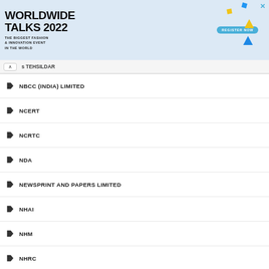[Figure (other): Advertisement banner for Worldwide Talks 2022 - The Biggest Fashion & Innovation Event in the World, with a Register Now button]
↑  s TEHSILDAR
NBCC (INDIA) LIMITED
NCERT
NCRTC
NDA
NEWSPRINT AND PAPERS LIMITED
NHAI
NHM
NHRC
NIA
NLC